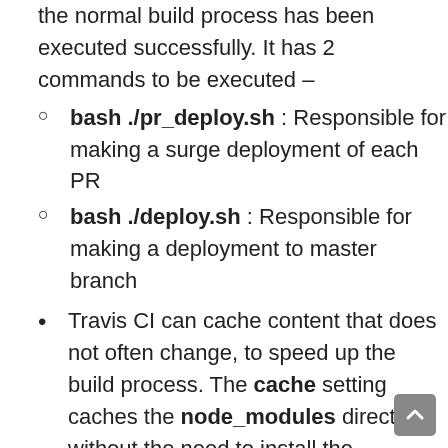the normal build process has been executed successfully. It has 2 commands to be executed –
bash ./pr_deploy.sh : Responsible for making a surge deployment of each PR
bash ./deploy.sh : Responsible for making a deployment to master branch
Travis CI can cache content that does not often change, to speed up the build process. The cache setting caches the node_modules directory, without the need to install the dependencies repeatedly.
We can specify certain branches to run,